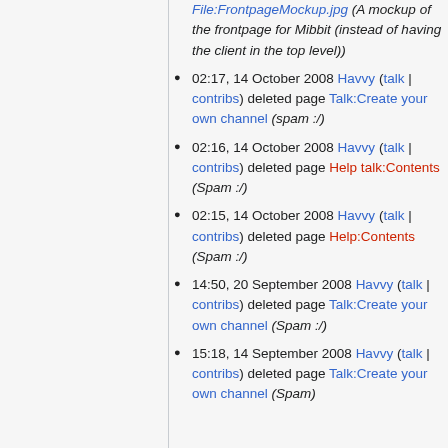File:FrontpageMockup.jpg (A mockup of the frontpage for Mibbit (instead of having the client in the top level))
02:17, 14 October 2008 Havvy (talk | contribs) deleted page Talk:Create your own channel (spam :/)
02:16, 14 October 2008 Havvy (talk | contribs) deleted page Help talk:Contents (Spam :/)
02:15, 14 October 2008 Havvy (talk | contribs) deleted page Help:Contents (Spam :/)
14:50, 20 September 2008 Havvy (talk | contribs) deleted page Talk:Create your own channel (Spam :/)
15:18, 14 September 2008 Havvy (talk | contribs) deleted page Talk:Create your own channel (Spam)